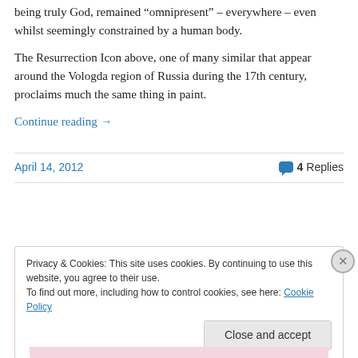being truly God, remained “omnipresent” – everywhere – even whilst seemingly constrained by a human body.
The Resurrection Icon above, one of many similar that appear around the Vologda region of Russia during the 17th century, proclaims much the same thing in paint.
Continue reading →
April 14, 2012
4 Replies
Privacy & Cookies: This site uses cookies. By continuing to use this website, you agree to their use.
To find out more, including how to control cookies, see here: Cookie Policy
Close and accept